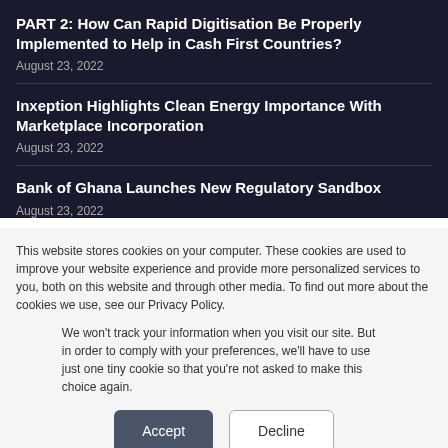PART 2: How Can Rapid Digitisation Be Properly Implemented to Help in Cash First Countries?
August 23, 2022
Inxeption Highlights Clean Energy Importance With Marketplace Incorporation
August 23, 2022
Bank of Ghana Launches New Regulatory Sandbox
August 23, 2022
This website stores cookies on your computer. These cookies are used to improve your website experience and provide more personalized services to you, both on this website and through other media. To find out more about the cookies we use, see our Privacy Policy.
We won't track your information when you visit our site. But in order to comply with your preferences, we'll have to use just one tiny cookie so that you're not asked to make this choice again.